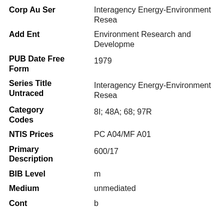| Field | Value |
| --- | --- |
| Corp Au Ser | Interagency Energy-Environment Resea... |
| Add Ent | Environment Research and Developme... |
| PUB Date Free Form | 1979 |
| Series Title Untraced | Interagency Energy-Environment Resea... |
| Category Codes | 8I; 48A; 68; 97R |
| NTIS Prices | PC A04/MF A01 |
| Primary Description | 600/17 |
| BIB Level | m |
| Medium | unmediated |
| Cont | b... |